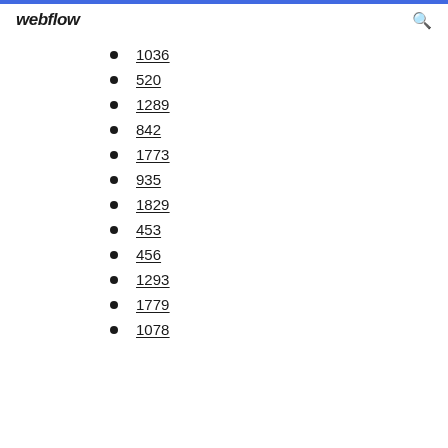webflow
1036
520
1289
842
1773
935
1829
453
456
1293
1779
1078